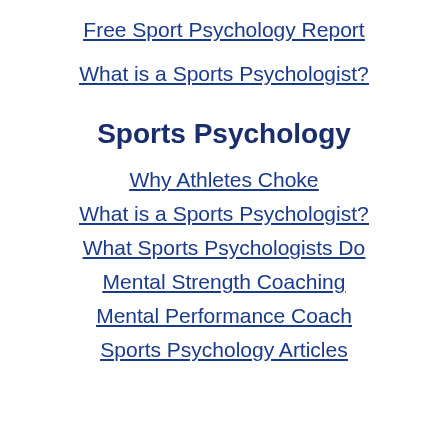Free Sport Psychology Report
What is a Sports Psychologist?
Sports Psychology
Why Athletes Choke
What is a Sports Psychologist?
What Sports Psychologists Do
Mental Strength Coaching
Mental Performance Coach
Sports Psychology Articles